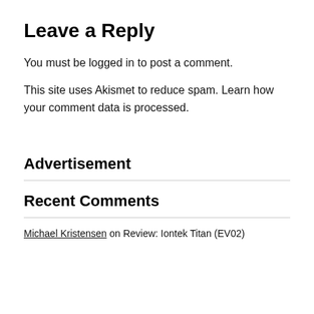Leave a Reply
You must be logged in to post a comment.
This site uses Akismet to reduce spam. Learn how your comment data is processed.
Advertisement
Recent Comments
Michael Kristensen on Review: Iontek Titan (EV02)